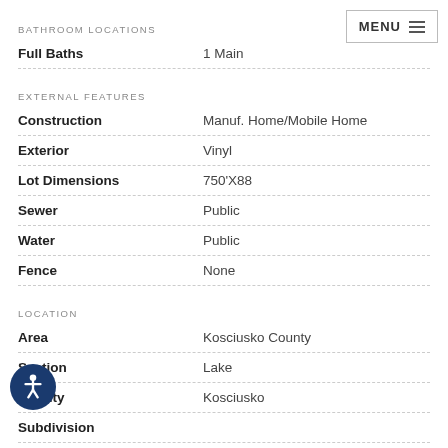BATHROOM LOCATIONS
| Field | Value |
| --- | --- |
| Full Baths | 1 Main |
EXTERNAL FEATURES
| Field | Value |
| --- | --- |
| Construction | Manuf. Home/Mobile Home |
| Exterior | Vinyl |
| Lot Dimensions | 750'X88 |
| Sewer | Public |
| Water | Public |
| Fence | None |
LOCATION
| Field | Value |
| --- | --- |
| Area | Kosciusko County |
| Section | Lake |
| County | Kosciusko |
| Subdivision |  |